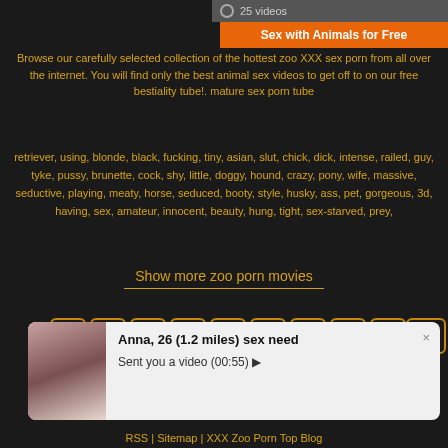25 videos
Sex with Animals for Free
Browse our carefully selected collection of the hottest zoo XXX sex porn from all over the internet. You will find only the best animal sex videos to get off to on our free bestiality tube!. mature sex porn tube
retriever, using, blonde, black, fucking, tiny, asian, slut, chick, dick, intense, railed, guy, tyke, pussy, brunette, cock, shy, little, doggy, hound, crazy, pony, wife, massive, seductive, playing, meaty, horse, seduced, booty, style, husky, ass, pet, gorgeous, 3d, having, sex, amateur, innocent, beauty, hung, tight, sex-starved, prey,
Show more zoo porn movies
1
2
3
4
5
6
7
8
9
10
[Figure (infographic): Notification popup with photo of woman and text: Anna, 26 (1.2 miles) sex need. Sent you a video (00:55)]
RSS | Sitemap | XXX Zoo Porn Top Blog